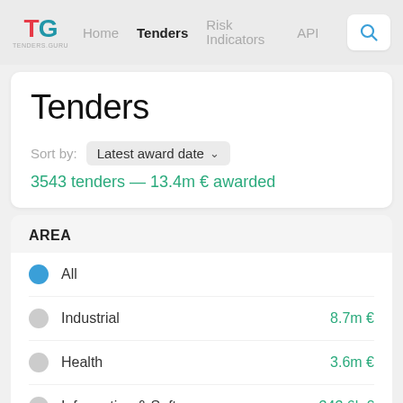Home | Tenders | Risk Indicators | API
Tenders
Sort by: Latest award date
3543 tenders — 13.4m € awarded
AREA
All
Industrial  8.7m €
Health  3.6m €
Information & Software  343.6k €
Construction  175.4k €